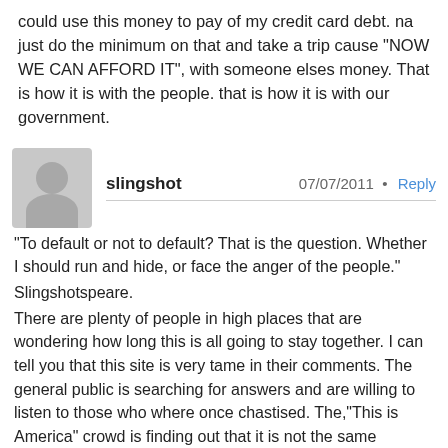could use this money to pay of my credit card debt. na just do the minimum on that and take a trip cause "NOW WE CAN AFFORD IT", with someone elses money. That is how it is with the people. that is how it is with our government.
slingshot   07/07/2011 · Reply

"To default or not to default? That is the question. Whether I should run and hide, or face the anger of the people."
Slingshotspeare.
There are plenty of people in high places that are wondering how long this is all going to stay together. I can tell you that this site is very tame in their comments. The general public is searching for answers and are willing to listen to those who where once chastised. The,"This is America" crowd is finding out that it is not the same America and is proven out by the above written statements.
I would ask you all to prepare for something that has never happened before. Bigger than any fire, storm, earthquake, because it will be man made and will affect us all. Natural forces